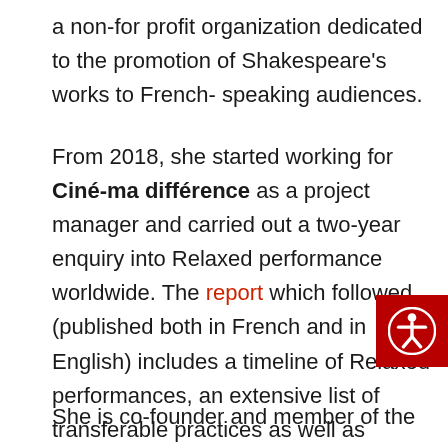a non-for profit organization dedicated to the promotion of Shakespeare's works to French-speaking audiences.
From 2018, she started working for Ciné-ma différence as a project manager and carried out a two-year enquiry into Relaxed performance worldwide. The report which followed (published both in French and in English) includes a timeline of Relaxed performances, an extensive list of transferable practices as well as recommendations.
She is co-founder and member of the International Relaxed Performance Network